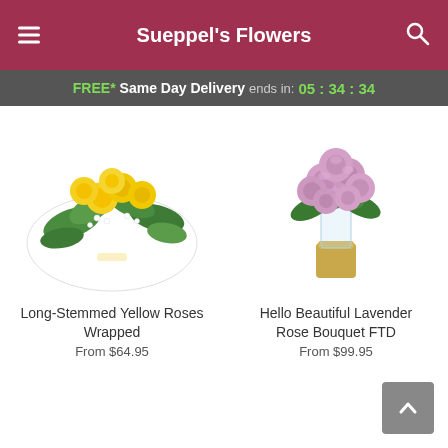Sueppel's Flowers
FREE* Same Day Delivery ends in: 05 : 34 : 34
[Figure (photo): Long-stemmed yellow roses wrapped in white paper with green foliage]
Long-Stemmed Yellow Roses Wrapped
From $64.95
[Figure (photo): Hello Beautiful Lavender Rose Bouquet in a gold vase with pink/lavender roses]
Hello Beautiful Lavender Rose Bouquet FTD
From $99.95